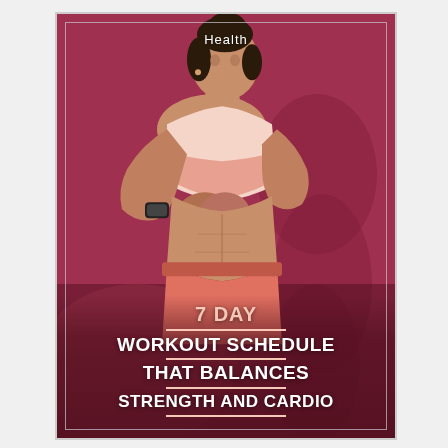[Figure (photo): Magazine cover-style image with a woman in athletic wear (pink/coral sports bra and leggings) in a boxing/workout stance against a deep pink/maroon background with a silhouette. Brand label 'Health' at top.]
7 DAY WORKOUT SCHEDULE THAT BALANCES STRENGTH AND CARDIO